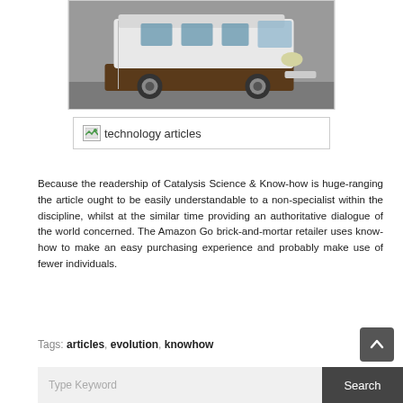[Figure (photo): A white and brown van/conversion van parked on a surface, viewed from the front-right angle. The vehicle has a boxy shape with tinted windows and chrome wheels.]
[Figure (other): A broken image placeholder with the alt text 'technology articles']
Because the readership of Catalysis Science & Know-how is huge-ranging the article ought to be easily understandable to a non-specialist within the discipline, whilst at the similar time providing an authoritative dialogue of the world concerned. The Amazon Go brick-and-mortar retailer uses know-how to make an easy purchasing experience and probably make use of fewer individuals.
Tags: articles, evolution, knowhow